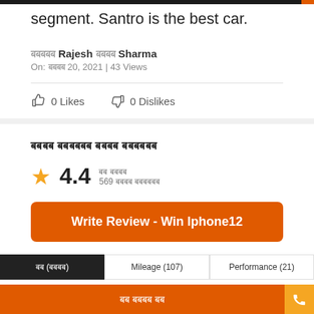segment. Santro is the best car.
बबबबब Rajesh बबबब Sharma
On: बबबब 20, 2021 | 43 Views
0 Likes   0 Dislikes
बबबब बबबबबब बबबब बबबबबब
4.4  बब बबबब  569 बबबब बबबबबब
Write Review - Win Iphone12
बब (बबबब)   Mileage (107)   Performance (21)
बब बबबब बब